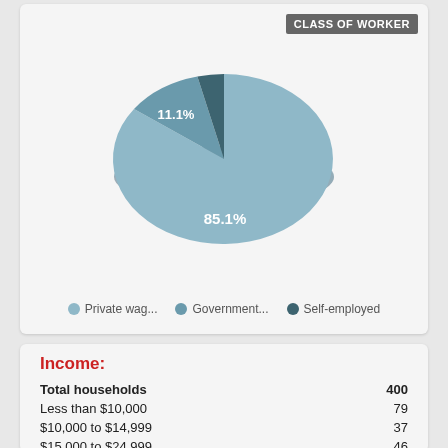[Figure (pie-chart): CLASS OF WORKER]
Income:
|  |  |
| --- | --- |
| Total households | 400 |
| Less than $10,000 | 79 |
| $10,000 to $14,999 | 37 |
| $15,000 to $24,999 | 46 |
| $25,000 to $34,999 | 22 |